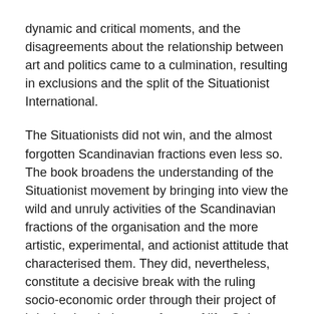dynamic and critical moments, and the disagreements about the relationship between art and politics came to a culmination, resulting in exclusions and the split of the Situationist International.
The Situationists did not win, and the almost forgotten Scandinavian fractions even less so. The book broadens the understanding of the Situationist movement by bringing into view the wild and unruly activities of the Scandinavian fractions of the organisation and the more artistic, experimental, and actionist attitude that characterised them. They did, nevertheless, constitute a decisive break with the ruling socio-economic order through their project of bringing into being new forms of life. Only an analysis of the multifaceted and often contradictory Situationist revolution will allow us to break away from the dull